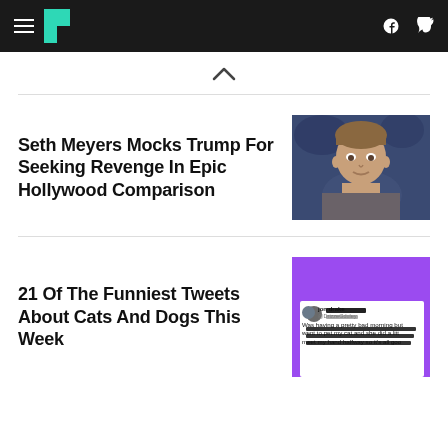HuffPost navigation bar with hamburger menu, logo, Facebook and Twitter icons
[Figure (illustration): Chevron/caret up arrow symbol]
[Figure (photo): Seth Meyers headshot from late night TV show, blue studio background]
Seth Meyers Mocks Trump For Seeking Revenge In Epic Hollywood Comparison
[Figure (screenshot): Tweet screenshot on purple background: jon drake @DrizzeGduley - Was having a pretty bad morning but went to pet my cat and she did a little meet my hand halfway so it's all goo]
21 Of The Funniest Tweets About Cats And Dogs This Week